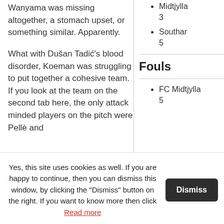Wanyama was missing altogether, a stomach upset, or something similar. Apparently.
What with Dušan Tadić's blood disorder, Koeman was struggling to put together a cohesive team. If you look at the team on the second tab here, the only attack minded players on the pitch were Pellè and
Midtjylla 3
Southar 5
Fouls
FC Midtjylla 5
Yes, this site uses cookies as well. If you are happy to continue, then you can dismiss this window, by clicking the "Dismiss" button on the right. If you want to know more then click Read more